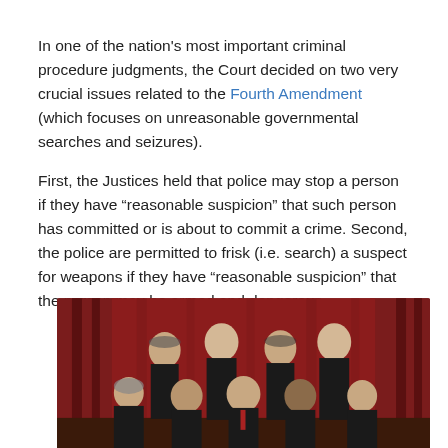In one of the nation's most important criminal procedure judgments, the Court decided on two very crucial issues related to the Fourth Amendment (which focuses on unreasonable governmental searches and seizures).
First, the Justices held that police may stop a person if they have "reasonable suspicion" that such person has committed or is about to commit a crime. Second, the police are permitted to frisk (i.e. search) a suspect for weapons if they have "reasonable suspicion" that the person may be armed and dangerous.
[Figure (photo): Group photo of nine Supreme Court Justices in black robes, posed in front of red curtains. Two rows: seated row of five in front, standing row of four behind.]